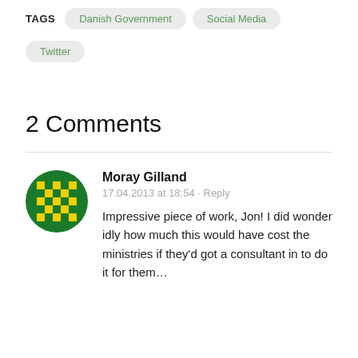TAGS  Danish Government  Social Media  Twitter
2 Comments
Moray Gilland
17.04.2013 at 18:54 · Reply
Impressive piece of work, Jon! I did wonder idly how much this would have cost the ministries if they'd got a consultant in to do it for them…